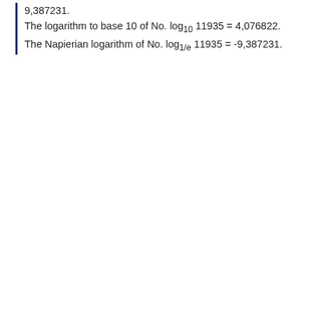9,387231.
The logarithm to base 10 of No. log₁₀ 11935 = 4,076822.
The Napierian logarithm of No. log₁/e 11935 = -9,387231.